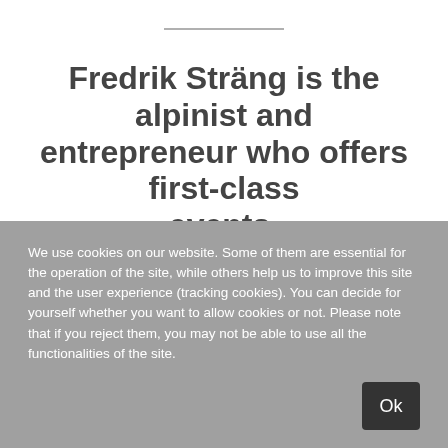Fredrik Sträng is the alpinist and entrepreneur who offers first-class events, lectures and group training for
We use cookies on our website. Some of them are essential for the operation of the site, while others help us to improve this site and the user experience (tracking cookies). You can decide for yourself whether you want to allow cookies or not. Please note that if you reject them, you may not be able to use all the functionalities of the site.